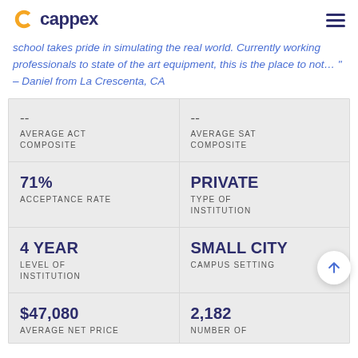cappex
school takes pride in simulating the real world. Currently working professionals to state of the art equipment, this is the place to not… " – Daniel from La Crescenta, CA
| Metric | Value |
| --- | --- |
| AVERAGE ACT COMPOSITE | -- |
| AVERAGE SAT COMPOSITE | -- |
| ACCEPTANCE RATE | 71% |
| TYPE OF INSTITUTION | PRIVATE |
| LEVEL OF INSTITUTION | 4 YEAR |
| CAMPUS SETTING | SMALL CITY |
| AVERAGE NET PRICE | $47,080 |
| NUMBER OF | 2,182 |